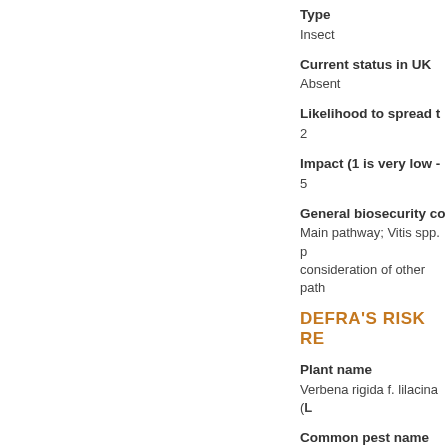Type
Insect
Current status in UK
Absent
Likelihood to spread t
2
Impact (1 is very low -
5
General biosecurity co
Main pathway; Vitis spp. p consideration of other path
DEFRA'S RISK RE
Plant name
Verbena rigida f. lilacina (L
Common pest name
Scientific pest name
Phytophthora tentaculata k
Type
Oomycete